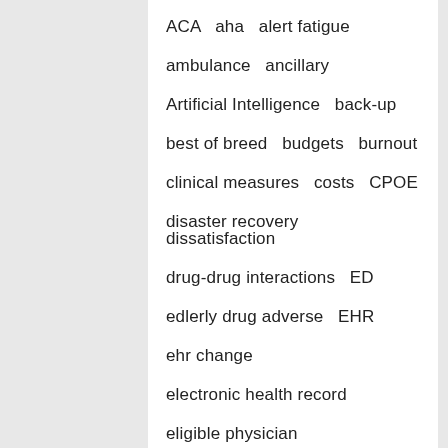ACA   aha   alert fatigue
ambulance   ancillary
Artificial Intelligence   back-up
best of breed   budgets   burnout
clinical measures   costs   CPOE
disaster recovery   dissatisfaction
drug-drug interactions   ED
edlerly drug adverse   EHR
ehr change
electronic health record
eligible physician
emergency department
emergency physicians   EMR
failure   guide   healthcare   HL7